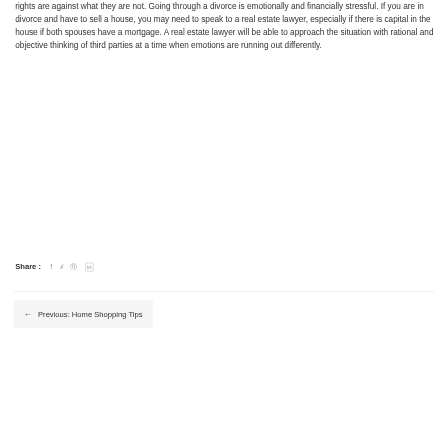rights are against what they are not. Going through a divorce is emotionally and financially stressful. If you are in divorce and have to sell a house, you may need to speak to a real estate lawyer, especially if there is capital in the house if both spouses have a mortgage. A real estate lawyer will be able to approach the situation with rational and objective thinking of third parties at a time when emotions are running out differently.
Share :
← Previous: Home Shopping Tips